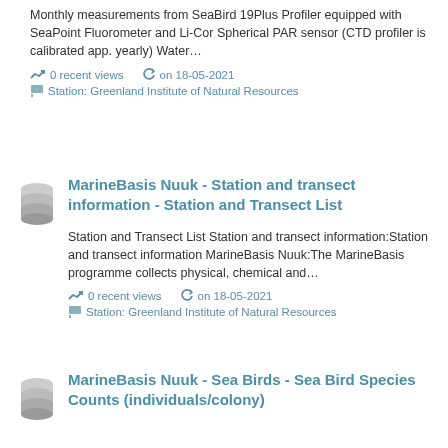Monthly measurements from SeaBird 19Plus Profiler equipped with SeaPoint Fluorometer and Li-Cor Spherical PAR sensor (CTD profiler is calibrated app. yearly) Water…
0 recent views   on 18-05-2021
Station: Greenland Institute of Natural Resources
MarineBasis Nuuk - Station and transect information - Station and Transect List
Station and Transect List Station and transect information:Station and transect information MarineBasis Nuuk:The MarineBasis programme collects physical, chemical and…
0 recent views   on 18-05-2021
Station: Greenland Institute of Natural Resources
MarineBasis Nuuk - Sea Birds - Sea Bird Species Counts (individuals/colony)